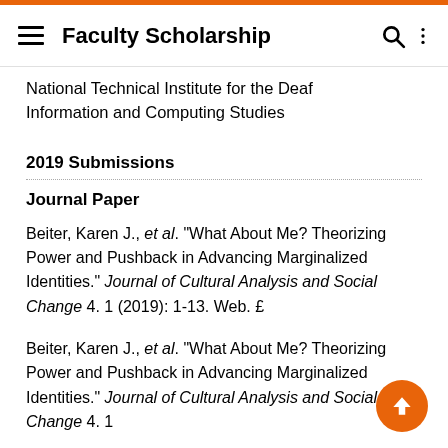Faculty Scholarship
National Technical Institute for the Deaf
Information and Computing Studies
2019 Submissions
Journal Paper
Beiter, Karen J., et al. "What About Me? Theorizing Power and Pushback in Advancing Marginalized Identities." Journal of Cultural Analysis and Social Change 4. 1 (2019): 1-13. Web. £
Beiter, Karen J., et al. "What About Me? Theorizing Power and Pushback in Advancing Marginalized Identities." Journal of Cultural Analysis and Social Change 4. 1